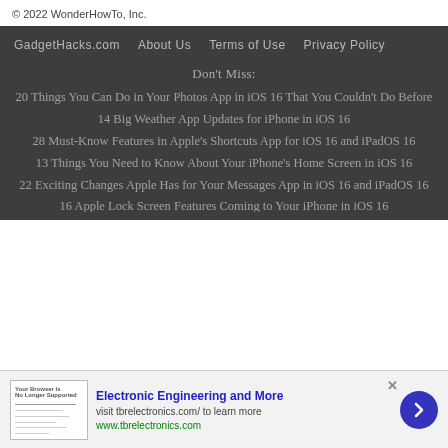© 2022 WonderHowTo, Inc.
GadgetHacks.com   About Us   Terms of Use   Privacy Policy
Don't Miss:
20 Things You Can Do in Your Photos App in iOS 16 That You Couldn't Do Before
14 Big Weather App Updates for iPhone in iOS 16
28 Must-Know Features in Apple's Shortcuts App for iOS 16 and iPadOS 16
13 Things You Need to Know About Your iPhone's Home Screen in iOS 16
22 Exciting Changes Apple Has for Your Messages App in iOS 16 and iPadOS 16
[Figure (screenshot): Advertisement banner for Electronic Engineering and More from tbrelectronics.com, showing a screenshot thumbnail, bold blue title, subtitle text, green URL, close button, and a blue circular arrow/chevron button.]